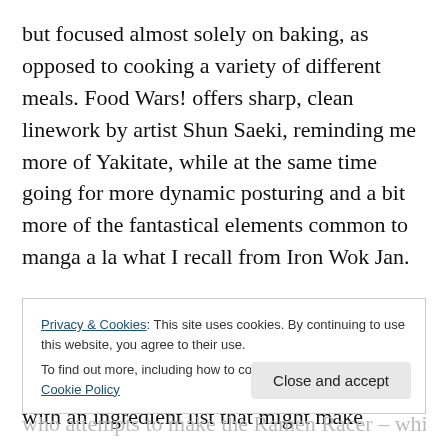but focused almost solely on baking, as opposed to cooking a variety of different meals. Food Wars! offers sharp, clean linework by artist Shun Saeki, reminding me more of Yakitate, while at the same time going for more dynamic posturing and a bit more of the fantastical elements common to manga a la what I recall from Iron Wok Jan.

All three titles put actual recipes in the back pages or chapter separations of their tankobon, some fairly simple to try, and some with an ingredient list that might make
Privacy & Cookies: This site uses cookies. By continuing to use this website, you agree to their use.
To find out more, including how to control cookies, see here: Cookie Policy
who attempts to make the Ramen Racer – which is also